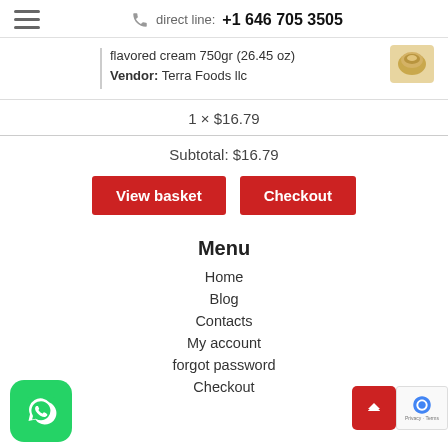direct line: +1 646 705 3505
flavored cream 750gr (26.45 oz)
Vendor: Terra Foods llc
1 × $16.79
Subtotal: $16.79
View basket
Checkout
Menu
Home
Blog
Contacts
My account
forgot password
Checkout